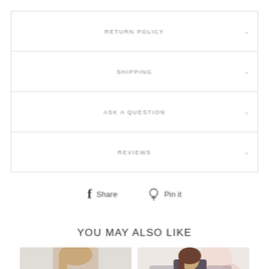RETURN POLICY
SHIPPING
ASK A QUESTION
REVIEWS
f Share   Pin it
YOU MAY ALSO LIKE
[Figure (photo): Woman wearing white ruched short-sleeve top, close-up on upper body]
[Figure (photo): Woman in dark dress standing in front of floral backdrop]